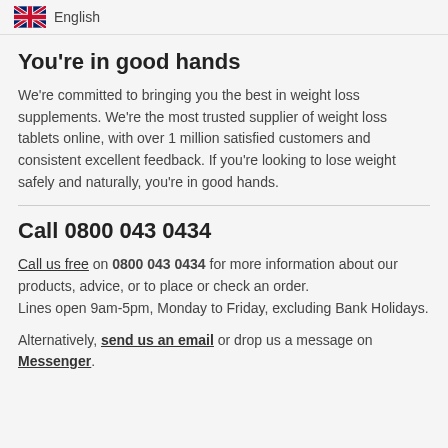English
You're in good hands
We're committed to bringing you the best in weight loss supplements. We're the most trusted supplier of weight loss tablets online, with over 1 million satisfied customers and consistent excellent feedback. If you're looking to lose weight safely and naturally, you're in good hands.
Call 0800 043 0434
Call us free on 0800 043 0434 for more information about our products, advice, or to place or check an order. Lines open 9am-5pm, Monday to Friday, excluding Bank Holidays.
Alternatively, send us an email or drop us a message on Messenger.